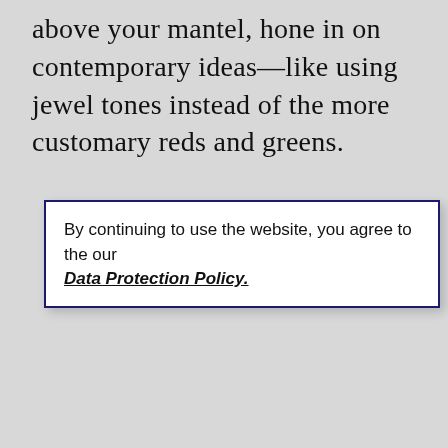above your mantel, hone in on contemporary ideas—like using jewel tones instead of the more customary reds and greens.
By continuing to use the website, you agree to the our Data Protection Policy.